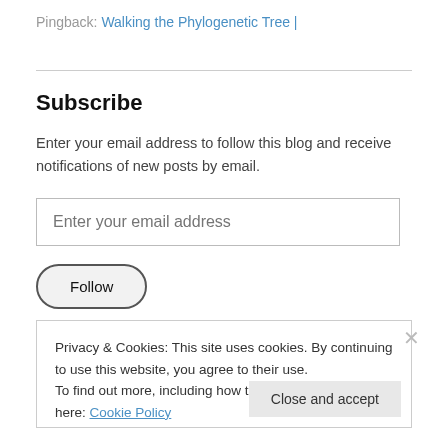Pingback: Walking the Phylogenetic Tree |
Subscribe
Enter your email address to follow this blog and receive notifications of new posts by email.
Enter your email address
Follow
Privacy & Cookies: This site uses cookies. By continuing to use this website, you agree to their use. To find out more, including how to control cookies, see here: Cookie Policy
Close and accept